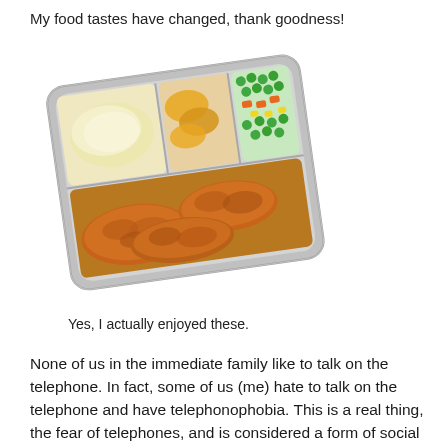My food tastes have changed, thank goodness!
[Figure (photo): A TV dinner tray with compartments containing mashed potatoes, sliced peaches, mixed vegetables (peas, carrots, corn), and fried chicken pieces, in a foil tray.]
Yes, I actually enjoyed these.
None of us in the immediate family like to talk on the telephone. In fact, some of us (me) hate to talk on the telephone and have telephonophobia. This is a real thing, the fear of telephones, and is considered a form of social anxiety. But my teenaged sisters HAD to have their own phone in their bedroom. It was a beautiful Princess phone,